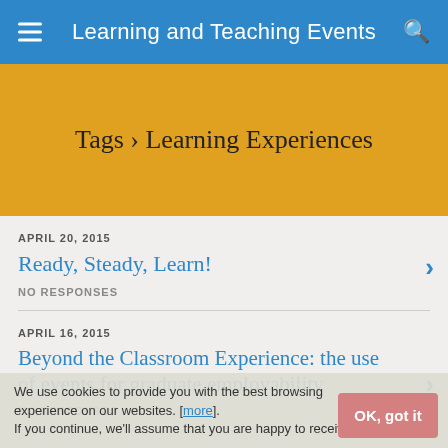Learning and Teaching Events
Tags › Learning Experiences
APRIL 20, 2015
Ready, Steady, Learn!
NO RESPONSES
APRIL 16, 2015
Beyond the Classroom Experience: the use of events for graduate employability
NO RESPONSES
We use cookies to provide you with the best browsing experience on our websites. [more]. If you continue, we'll assume that you are happy to receive all